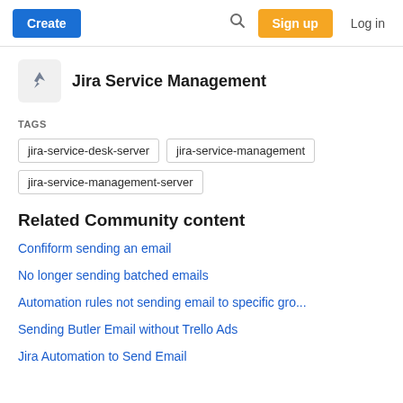Create | Search | Sign up | Log in
Jira Service Management
TAGS
jira-service-desk-server
jira-service-management
jira-service-management-server
Related Community content
Confiform sending an email
No longer sending batched emails
Automation rules not sending email to specific gro...
Sending Butler Email without Trello Ads
Jira Automation to Send Email